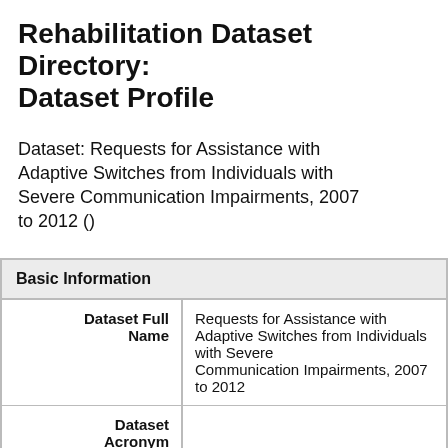Rehabilitation Dataset Directory: Dataset Profile
Dataset: Requests for Assistance with Adaptive Switches from Individuals with Severe Communication Impairments, 2007 to 2012 ()
| Basic Information |
| --- |
| Dataset Full Name | Requests for Assistance with Adaptive Switches from Individuals with Severe Communication Impairments, 2007 to 2012 |
| Dataset Acronym |  |
| Summary | The Requests for Assistance with Adaptive Switches from Individuals with Severe Communication Impairments study is one of... Communication of People with Mental Reta... which focuses on identifying participant vari... |